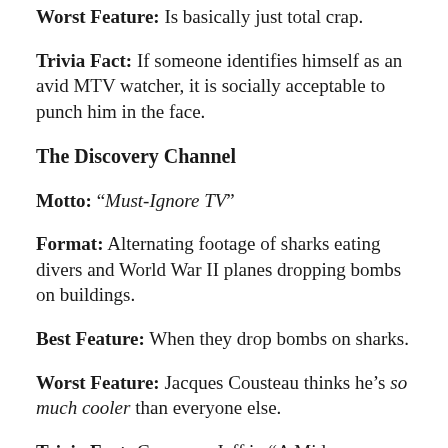Worst Feature: Is basically just total crap.
Trivia Fact: If someone identifies himself as an avid MTV watcher, it is socially acceptable to punch him in the face.
The Discovery Channel
Motto: “Must-Ignore TV”
Format: Alternating footage of sharks eating divers and World War II planes dropping bombs on buildings.
Best Feature: When they drop bombs on sharks.
Worst Feature: Jacques Cousteau thinks he’s so much cooler than everyone else.
Trivia Fact: Come see Jeff in “A Midsummer Night’s